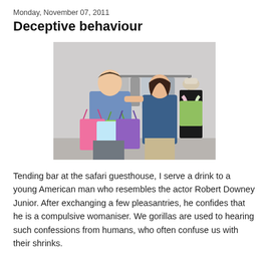Monday, November 07, 2011
Deceptive behaviour
[Figure (photo): A young man and woman in a clothing store. The man holds several colorful shopping bags (pink, green, light blue, purple) and leans against a clothing rack. The woman stands beside him smiling. A mannequin with a hat and scarf is visible in the background.]
Tending bar at the safari guesthouse, I serve a drink to a young American man who resembles the actor Robert Downey Junior. After exchanging a few pleasantries, he confides that he is a compulsive womaniser. We gorillas are used to hearing such confessions from humans, who often confuse us with their shrinks.